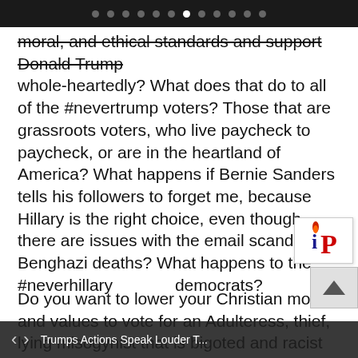• • • • • • • (active) • • • • • •
moral, and ethical standards and support Donald Trump whole-heartedly? What does that do to all of the #nevertrump voters? Those that are grassroots voters, who live paycheck to paycheck, or are in the heartland of America? What happens if Bernie Sanders tells his followers to forget me, because Hillary is the right choice, even though there are issues with the email scandal and Benghazi deaths? What happens to the #neverhillary democrats?
Do you want to lower your Christian morals and values to vote for an Adulteress, thief, lying misogynist that is bigoted and racist to stop Hillary? You believe God would say you did well by giving up my Word to stop Hillary? Do you want to make history so bad, that you are willing to overlook the lies and trickery of Bill and Hillary Clinton? Are you willing to weigh out the email scandal and Benghazi
Trumps Actions Speak Louder T...